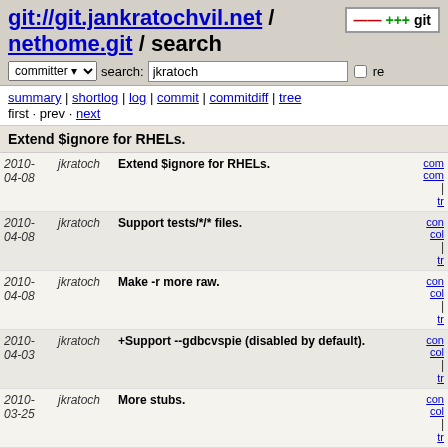git://git.jankratochvil.net / nethome.git / search
committer ▾ search: jkratoch re
summary | shortlog | log | commit | commitdiff | tree
first · prev · next
Extend $ignore for RHELs.
| Date | Author | Message | Links |
| --- | --- | --- | --- |
| 2010-04-08 | jkratoch | Extend $ignore for RHELs. | com
com
| tr |
| 2010-04-08 | jkratoch | Support tests/*/* files. | com
com
| tr |
| 2010-04-08 | jkratoch | Make -r more raw. | com
com
| tr |
| 2010-04-03 | jkratoch | +Support --gdbcvspie (disabled by default). | com
com
| tr |
| 2010-03-25 | jkratoch | More stubs. | com
com
| tr |
| 2010-03-22 | jkratoch | Ugly hacked in -N. | com
com
| tr |
| 2010-03-21 | jkratoch | Fix wrong $ignore initialization. | com
com
| tr |
| 2010-03-17 | jkratoch | Workaround valgrind of python on x86_64: | com
com
| tr |
| 2010-03-... | jkratoch | Unify diffgdbfilt into diffgdb. | com
com |